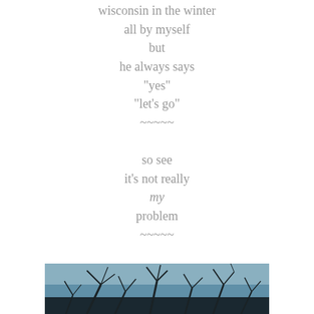wisconsin in the winter
all by myself
but
he always says
"yes"
"let's go"
~~~~~
so see
it's not really
my
problem
~~~~~
honestly
I really think it's all his fault
and
if I were in a support group meeting
and
offered this up as the reason to my problem
well
this is probably about the time they'd kick me out
[Figure (photo): A photograph of bare winter tree branches against a pale grey-blue sky, cropped at the bottom of the page.]